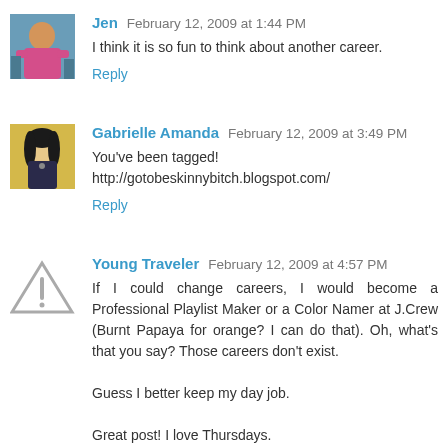[Figure (photo): Avatar of commenter Jen - person in pink top]
Jen February 12, 2009 at 1:44 PM
I think it is so fun to think about another career.
Reply
[Figure (photo): Avatar of commenter Gabrielle Amanda - woman with dark hair]
Gabrielle Amanda February 12, 2009 at 3:49 PM
You've been tagged! http://gotobeskinnybitch.blogspot.com/
Reply
[Figure (illustration): Avatar of commenter Young Traveler - triangle warning sign silhouette]
Young Traveler February 12, 2009 at 4:57 PM
If I could change careers, I would become a Professional Playlist Maker or a Color Namer at J.Crew (Burnt Papaya for orange? I can do that). Oh, what's that you say? Those careers don't exist.

Guess I better keep my day job.

Great post! I love Thursdays.